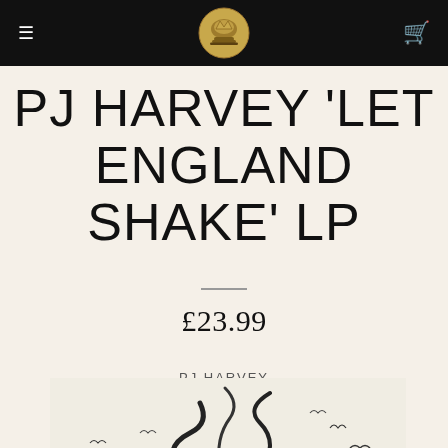Navigation bar with hamburger menu, logo, and cart icon
PJ HARVEY 'LET ENGLAND SHAKE' LP
£23.99
[Figure (photo): Album cover for PJ Harvey 'Let England Shake' - black and white artwork showing abstract foliage/explosion with birds, text 'PJ HARVEY' at top and 'LET' visible at bottom]